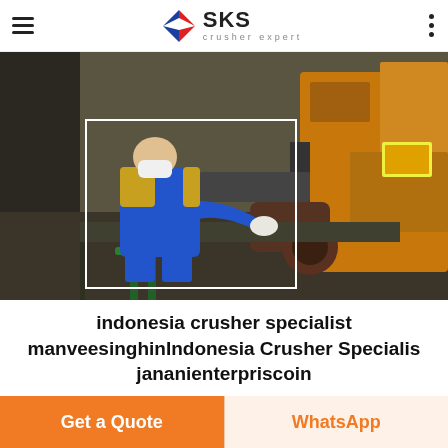SKS crusher expert
[Figure (photo): Worker in blue uniform and face mask operating industrial crusher/cutting machine in a factory setting]
indonesia crusher specialist manveesinghinIndonesia Crusher Specialis jananienterpriscoin
Indonesian Crusher Specialist kasprzyk arteu specialist jakarta
Get a Quote | WhatsApp